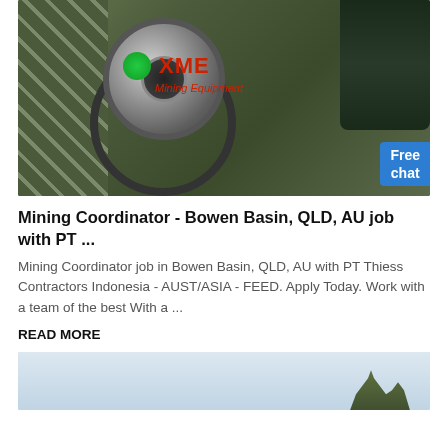[Figure (photo): Industrial mining equipment showing large rotating mill with circular gear mechanism, dark cylindrical tank on right, diagonal structural elements on left, XME Mining Equipment logo watermark overlay, and a Free chat badge in bottom right corner]
Mining Coordinator - Bowen Basin, QLD, AU job with PT ...
Mining Coordinator job in Bowen Basin, QLD, AU with PT Thiess Contractors Indonesia - AUST/ASIA - FEED. Apply Today. Work with a team of the best With a ...
READ MORE
[Figure (photo): Partial view of outdoor landscape or mining site photo, showing sky and silhouetted structures]